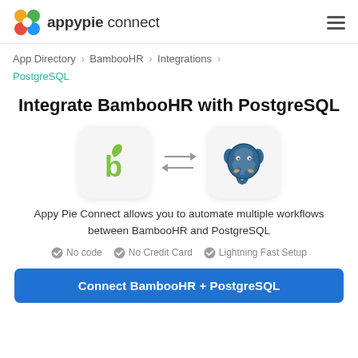appypie connect
App Directory > BambooHR > Integrations > PostgreSQL
Integrate BambooHR with PostgreSQL
[Figure (logo): BambooHR green leaf logo and PostgreSQL blue elephant logo with bidirectional arrows between them]
Appy Pie Connect allows you to automate multiple workflows between BambooHR and PostgreSQL
No code   No Credit Card   Lightning Fast Setup
Connect BambooHR + PostgreSQL